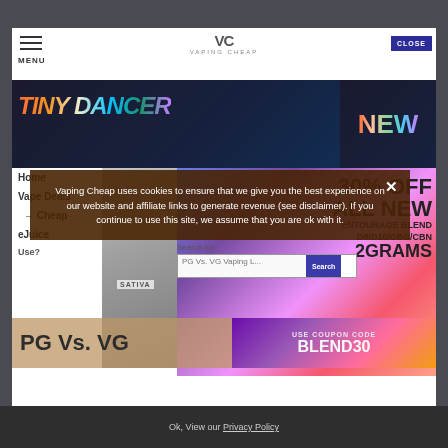[Figure (screenshot): Screenshot of Vaping Cheap website with navigation menu, Tiny Dancer banner, 30% off promotion for Entourage Blend 2 Grams, PG Vs VG article, product cards, search bar, and cookie consent overlay]
MENU
VAPING CHEAP
CLOSE
TINY DANCER
NEW
Home
Vape Deals
→ Cheap
eJuice
Search for: PG Vs. VG Vaping L...
30% OFF ALL NEW ENTOURAGE BLEND D8/D10/CBG/CBN 2GRAMS
SATIVA
PG Vs. VG
BLEND30
USE COUPON CODE
Vaping Cheap uses cookies to ensure that we give you the best experience on our website and affiliate links to generate revenue (see disclaimer). If you continue to use this site, we assume that you are ok with it.
Ok, View our Privacy Policy